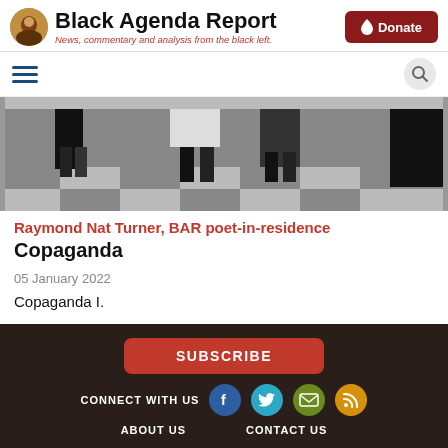Black Agenda Report — News, commentary and analysis from the black left.
[Figure (photo): Black and white photo of people walking in a hallway, showing legs and lower bodies]
Raymond Nat Turner, BAR poet-in-residence
Copaganda
05 January 2022
Copaganda I.
SUBSCRIBE | CONNECT WITH US | ABOUT US | CONTACT US